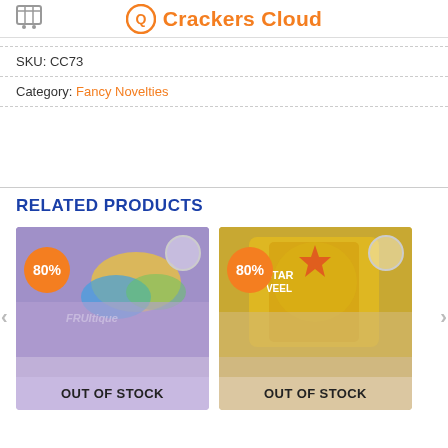Crackers Cloud
SKU: CC73
Category: Fancy Novelties
RELATED PRODUCTS
[Figure (photo): Product card showing a purple package with tropical design, OUT OF STOCK badge, 80% discount badge]
[Figure (photo): Product card showing a gold cylindrical can with Starveel branding, OUT OF STOCK badge, 80% discount badge]